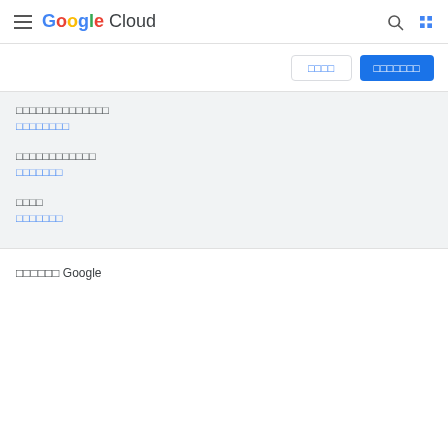[Figure (logo): Google Cloud logo with hamburger menu, search icon, and grid icon in navigation bar]
□□□□ (outlined button) □□□□□□□ (filled blue button)
□□□□□□□□□□□□□□
□□□□□□□□ (link)
□□□□□□□□□□□□
□□□□□□□ (link)
□□□□
□□□□□□□ (link)
□□□□□□ Google